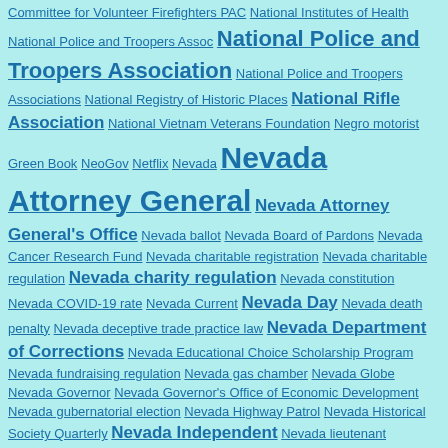Committee for Volunteer Firefighters PAC National Institutes of Health National Police and Troopers Assoc National Police and Troopers Association National Police and Troopers Associations National Registry of Historic Places National Rifle Association National Vietnam Veterans Foundation Negro motorist Green Book NeoGov Netflix Nevada Nevada Attorney General Nevada Attorney General's Office Nevada ballot Nevada Board of Pardons Nevada Cancer Research Fund Nevada charitable registration Nevada charitable regulation Nevada charity regulation Nevada constitution Nevada COVID-19 rate Nevada Current Nevada Day Nevada death penalty Nevada deceptive trade practice law Nevada Department of Corrections Nevada Educational Choice Scholarship Program Nevada fundraising regulation Nevada gas chamber Nevada Globe Nevada Governor Nevada Governor's Office of Economic Development Nevada gubernatorial election Nevada Highway Patrol Nevada Historical Society Quarterly Nevada Independent Nevada lieutenant governor Nevada National Security Site Nevada none of the above Nevada nuclear testing Nevada presidential caucuses Nevada presidential count Nevada pronunciation Nevada property tax Nevada public education Nevada Public Records Act Nevada regulation Nevada Republican Party Nevada Revised Statues 82A.120 Nevada Revised Statutes 203.040 Nevada sales tax Nevada Secretary of State Nevada Secretary of State's Office Nevada Senate Bill 62 Nevada statehood Nevada state motto Nevada State Museum nevada state